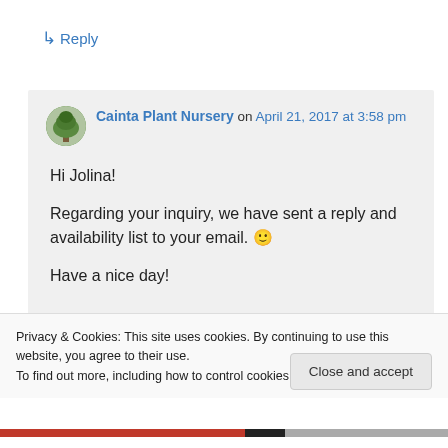↳ Reply
Cainta Plant Nursery on April 21, 2017 at 3:58 pm
Hi Jolina!
Regarding your inquiry, we have sent a reply and availability list to your email. 🙂
Have a nice day!
Privacy & Cookies: This site uses cookies. By continuing to use this website, you agree to their use.
To find out more, including how to control cookies, see here: Cookie Policy